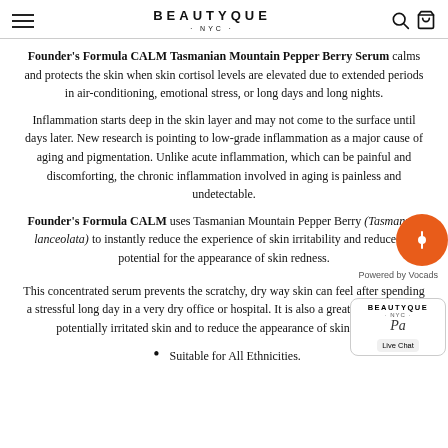BEAUTYQUE NYC
Founder's Formula CALM Tasmanian Mountain Pepper Berry Serum calms and protects the skin when skin cortisol levels are elevated due to extended periods in air-conditioning, emotional stress, or long days and long nights.
Inflammation starts deep in the skin layer and may not come to the surface until days later. New research is pointing to low-grade inflammation as a major cause of aging and pigmentation. Unlike acute inflammation, which can be painful and discomforting, the chronic inflammation involved in aging is painless and undetectable.
Founder's Formula CALM uses Tasmanian Mountain Pepper Berry (Tasmannia lanceolata) to instantly reduce the experience of skin irritability and reduce the potential for the appearance of skin redness.
This concentrated serum prevents the scratchy, dry way skin can feel after spending a stressful long day in a very dry office or hospital. It is also a great serum to calm potentially irritated skin and to reduce the appearance of skin redness.
Suitable for All Ethnicities.